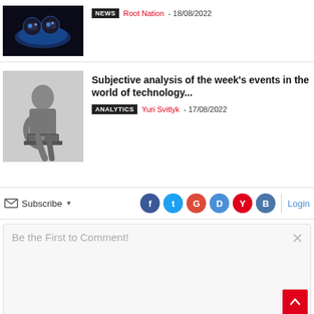[Figure (screenshot): Article thumbnail: dark background with blue circular icons (chat bubbles)]
NEWS  Root Nation - 18/08/2022
[Figure (photo): Black and white photo of a thinker statue using a laptop]
Subjective analysis of the week's events in the world of technology...
ANALYTICS  Yuri Svitlyk - 17/08/2022
Subscribe  [social icons: Facebook, Twitter, Google, D, Y, VK]  Login
Be the First to Comment!